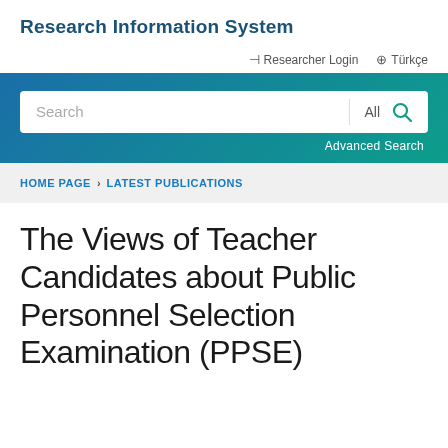Research Information System
Researcher Login   Türkçe
[Figure (screenshot): Search bar with text field showing 'Search', a dropdown showing 'All', a search icon button, and an 'Advanced Search' link below, all on a teal-to-blue gradient background banner.]
HOME PAGE > LATEST PUBLICATIONS
The Views of Teacher Candidates about Public Personnel Selection Examination (PPSE)